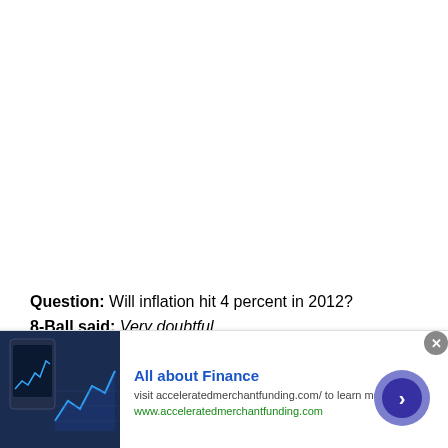Question: Will inflation hit 4 percent in 2012? 8-Ball said: Very doubtful. What really happened: Although the official numbers are dubious, the inflation rate as measured by the Bureau of Labor Statistics' Consumer Price Index never approached
[Figure (infographic): Advertisement banner for 'All about Finance' from acceleratedmerchantfunding.com, featuring a stock chart image on the left, bold blue title, description text, green URL link, and a dark blue arrow button on the right.]